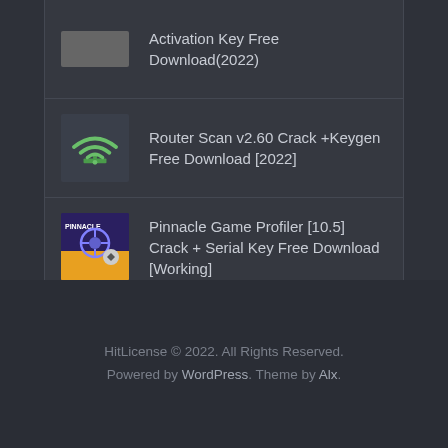Activation Key Free Download(2022)
Router Scan v2.60 Crack +Keygen Free Download [2022]
Pinnacle Game Profiler [10.5] Crack + Serial Key Free Download [Working]
[Figure (other): Scroll-to-top button with upward chevron arrow]
HitLicense © 2022. All Rights Reserved. Powered by WordPress. Theme by Alx.